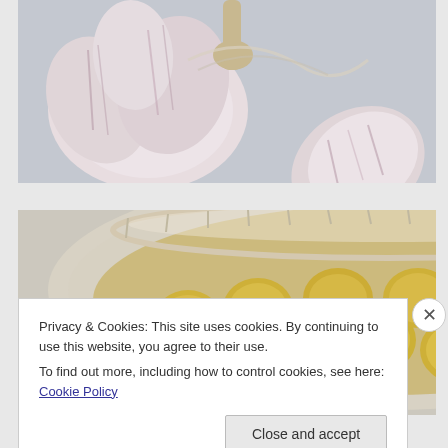[Figure (photo): Close-up photo of garlic bulbs and cloves with purple-tinged papery skin on a light grey-blue background]
[Figure (photo): Top-down view of a bowl containing green-yellow olives in brine or oil]
Privacy & Cookies: This site uses cookies. By continuing to use this website, you agree to their use.
To find out more, including how to control cookies, see here: Cookie Policy
Close and accept